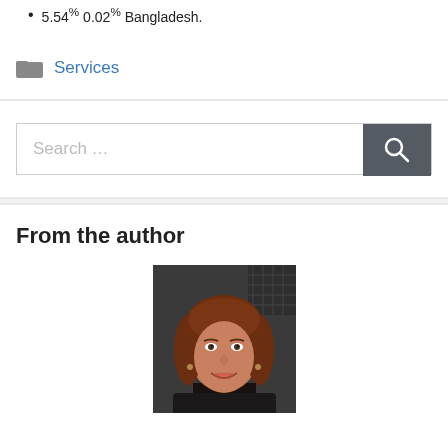5.54% 0.02% Bangladesh.
Services
[Figure (other): Search bar with text input field and dark grey search button with magnifying glass icon]
From the author
[Figure (photo): Headshot photo of a middle-aged woman with auburn/brown hair, smiling, wearing a dark blazer, photographed against a dark background]